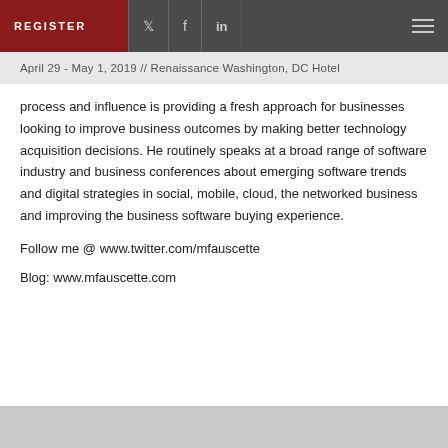REGISTER | Twitter | Facebook | LinkedIn | Menu
April 29 - May 1, 2019 // Renaissance Washington, DC Hotel
process and influence is providing a fresh approach for businesses looking to improve business outcomes by making better technology acquisition decisions. He routinely speaks at a broad range of software industry and business conferences about emerging software trends and digital strategies in social, mobile, cloud, the networked business and improving the business software buying experience.
Follow me @ www.twitter.com/mfauscette
Blog: www.mfauscette.com